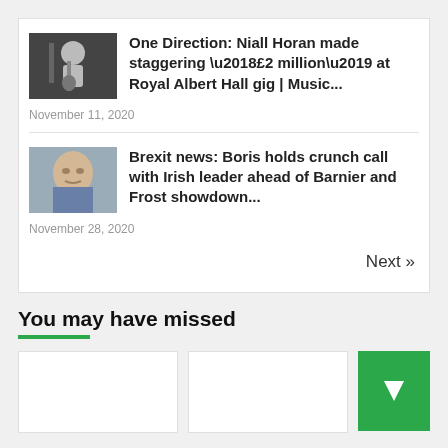One Direction: Niall Horan made staggering ‘£2 million’ at Royal Albert Hall gig | Music...
November 11, 2020
Brexit news: Boris holds crunch call with Irish leader ahead of Barnier and Frost showdown...
November 28, 2020
Next »
You may have missed